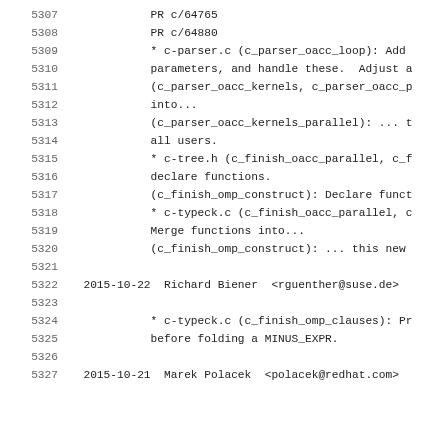5307    PR c/64765
5308    PR c/64880
5309    * c-parser.c (c_parser_oacc_loop): Add
5310    parameters, and handle these.  Adjust a
5311    (c_parser_oacc_kernels, c_parser_oacc_p
5312    into...
5313    (c_parser_oacc_kernels_parallel): ... t
5314    all users.
5315    * c-tree.h (c_finish_oacc_parallel, c_f
5316    declare functions.
5317    (c_finish_omp_construct): Declare funct
5318    * c-typeck.c (c_finish_oacc_parallel, c
5319    Merge functions into...
5320    (c_finish_omp_construct): ... this new
5321    
5322  2015-10-22  Richard Biener  <rguenther@suse.de>
5323    
5324    * c-typeck.c (c_finish_omp_clauses): Pr
5325    before folding a MINUS_EXPR.
5326    
5327  2015-10-21  Marek Polacek  <polacek@redhat.com>